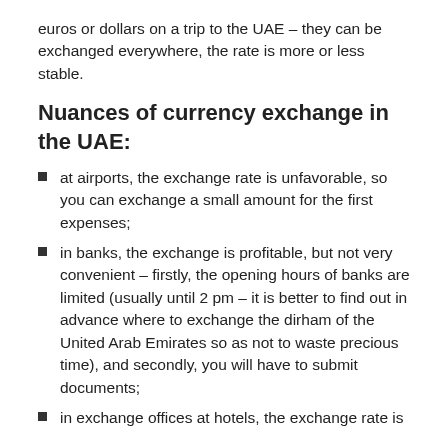euros or dollars on a trip to the UAE – they can be exchanged everywhere, the rate is more or less stable.
Nuances of currency exchange in the UAE:
at airports, the exchange rate is unfavorable, so you can exchange a small amount for the first expenses;
in banks, the exchange is profitable, but not very convenient – firstly, the opening hours of banks are limited (usually until 2 pm – it is better to find out in advance where to exchange the dirham of the United Arab Emirates so as not to waste precious time), and secondly, you will have to submit documents;
in exchange offices at hotels, the exchange rate is